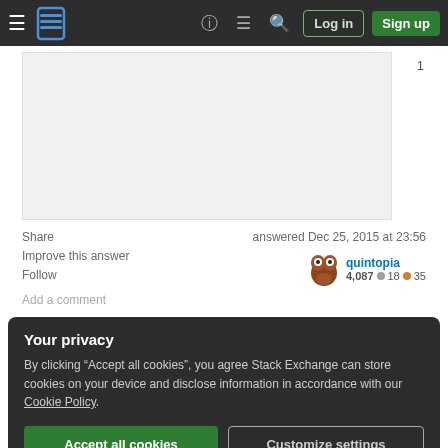Stack Exchange navigation bar with Log in and Sign up buttons
[Figure (screenshot): Gray code/answer block area with vote count '1' on the right]
Share
Improve this answer
Follow
Add a comment
answered Dec 25, 2015 at 23:56
quintopia
4,087 ● 18 ● 35
Your privacy
By clicking "Accept all cookies", you agree Stack Exchange can store cookies on your device and disclose information in accordance with our Cookie Policy.
Accept all cookies   Customize settings
Try it online. Test suite